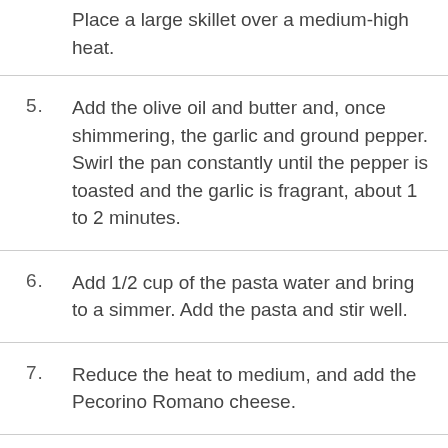Place a large skillet over a medium-high heat.
Add the olive oil and butter and, once shimmering, the garlic and ground pepper. Swirl the pan constantly until the pepper is toasted and the garlic is fragrant, about 1 to 2 minutes.
Add 1/2 cup of the pasta water and bring to a simmer. Add the pasta and stir well.
Reduce the heat to medium, and add the Pecorino Romano cheese.
Stir well, until the cheese has fully melted and every strand of pasta is coated.
Add more of the reserved water if the sauce